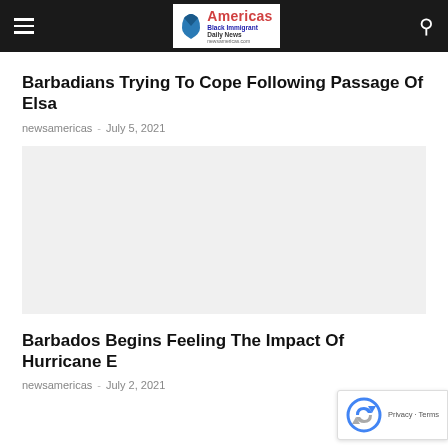Americas Black Immigrant Daily News
Barbadians Trying To Cope Following Passage Of Elsa
newsamericas - July 5, 2021
[Figure (photo): Image placeholder for article about Barbadians coping after passage of Elsa]
Barbados Begins Feeling The Impact Of Hurricane E
newsamericas - July 2, 2021